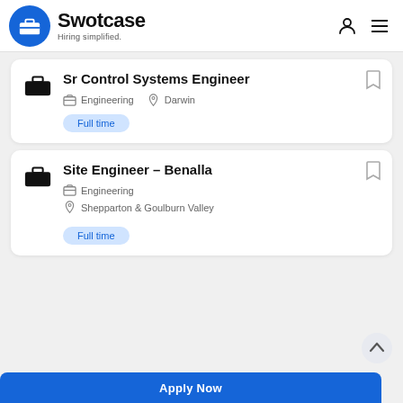Swotcase – Hiring simplified.
Sr Control Systems Engineer
Engineering · Darwin
Full time
Site Engineer – Benalla
Engineering
Shepparton & Goulburn Valley
Full time
Apply Now